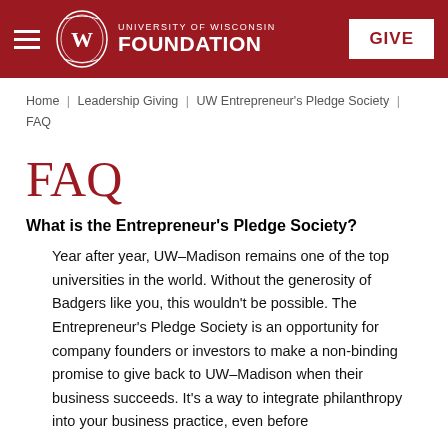University of Wisconsin Foundation | GIVE
Home | Leadership Giving | UW Entrepreneur's Pledge Society | FAQ
FAQ
What is the Entrepreneur's Pledge Society?
Year after year, UW–Madison remains one of the top universities in the world. Without the generosity of Badgers like you, this wouldn't be possible. The Entrepreneur's Pledge Society is an opportunity for company founders or investors to make a non-binding promise to give back to UW–Madison when their business succeeds. It's a way to integrate philanthropy into your business practice, even before